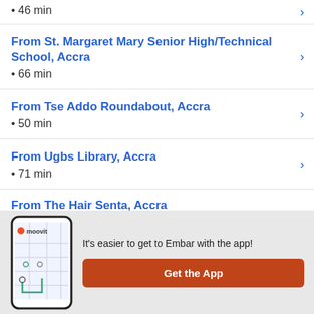• 46 min
From St. Margaret Mary Senior High/Technical School, Accra • 66 min
From Tse Addo Roundabout, Accra • 50 min
From Ugbs Library, Accra • 71 min
From The Hair Senta, Accra
It's easier to get to Embar with the app!
Get the App